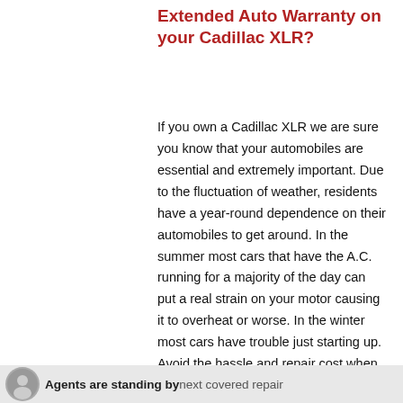Extended Auto Warranty on your Cadillac XLR?
If you own a Cadillac XLR we are sure you know that your automobiles are essential and extremely important. Due to the fluctuation of weather, residents have a year-round dependence on their automobiles to get around. In the summer most cars that have the A.C. running for a majority of the day can put a real strain on your motor causing it to overheat or worse. In the winter most cars have trouble just starting up. Avoid the hassle and repair cost when it comes to repairing your Cadillac XLR. A Total Auto Protection Plan will save you a
Agents are standing by next covered repair